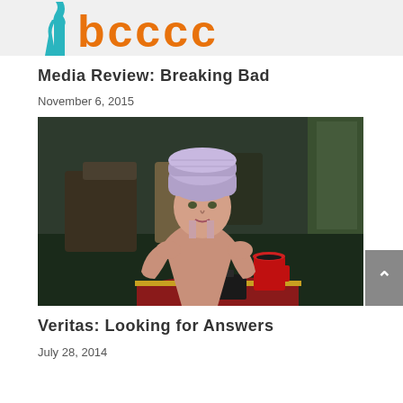[Figure (logo): Partial logo at top — teal person silhouette with large orange letters partially visible]
Media Review: Breaking Bad
November 6, 2015
[Figure (photo): Woman wearing a light purple/lavender beanie hat, resting her chin on her hands at a cafe table with a red mug and camera on the table. Blurred cafe interior in background.]
Veritas: Looking for Answers
July 28, 2014